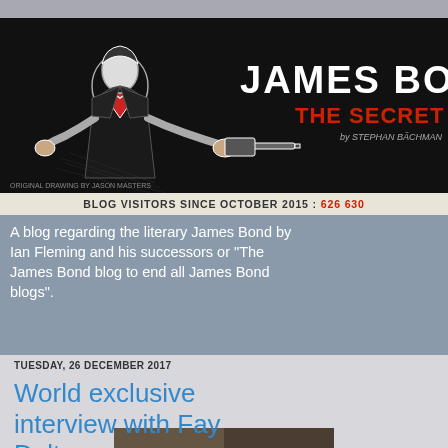[Figure (illustration): James Bond The Secret Agent blog banner - black and white comic-style illustration of a man in a suit aiming a gun, with white text 'JAMES BOND' and red text 'THE SECRET AGENT' on dark background. Original drawing by Jason Masters.]
BLOG VISITORS SINCE OCTOBER 2015 : 626 630
[Figure (illustration): Casino Royale themed background with gold rope/handcuff design and heart card suits in red on blue-gray background]
A blog regarding the literary James Bond by Ian Fleming and his successors or "The James Bond blog to end all James Bond blogs".
TUESDAY, 26 DECEMBER 2017
World exclusive interview with Fay Dalton
[Figure (photo): Partial thumbnail photo at bottom of page]